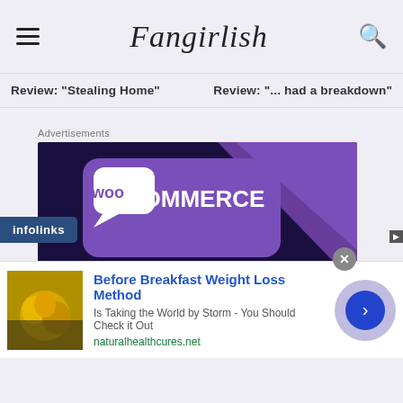Fangirlish
Review: "Stealing Home"   Review: "... had a breakdown"
Advertisements
[Figure (screenshot): WooCommerce advertisement: purple and dark blue background with WooCommerce logo and text 'Turn your hobby into a business in 8 steps']
[Figure (screenshot): Bottom advertisement: Before Breakfast Weight Loss Method - Is Taking the World by Storm - You Should Check it Out, naturalhealthcures.net]